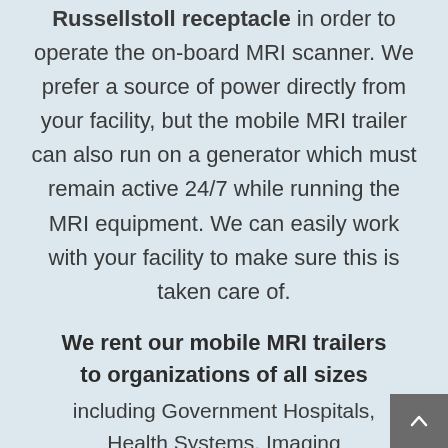Russellstoll receptacle in order to operate the on-board MRI scanner. We prefer a source of power directly from your facility, but the mobile MRI trailer can also run on a generator which must remain active 24/7 while running the MRI equipment. We can easily work with your facility to make sure this is taken care of.
We rent our mobile MRI trailers to organizations of all sizes
including Government Hospitals, Health Systems, Imaging